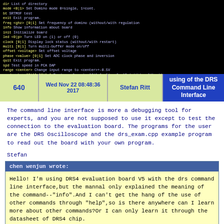[Figure (screenshot): Terminal/command line interface showing DRS command list with commands and descriptions in white/yellow text on black background]
| 640 | Wed Nov 22 08:48:36 2017 | Stefan Ritt | using of the DRS Command Line Interface |
| --- | --- | --- | --- |
The command line interface is more a debugging tool for experts, and you are not supposed to use it except to test the connection to the evaluation board. The programs for the user are the DRS Oscilloscope and the drs_exam.cpp example program to read out the board with your own program.
Stefan
chen wenjun wrote:

Hello! I'm using DRS4 evaluation board V5 with the drs command line interface,but the mannal only explained the meaning of the command--"info".And I can't get the hang of the use of other commands through "help",so is there anywhere can I learn more about other commands?Or I can only learn it through the datasheet of DRS4 chip.